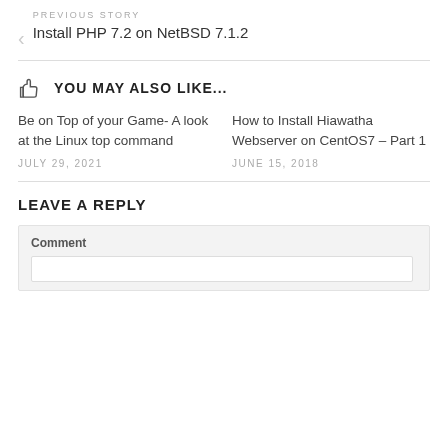PREVIOUS STORY
Install PHP 7.2 on NetBSD 7.1.2
YOU MAY ALSO LIKE...
Be on Top of your Game- A look at the Linux top command
JULY 29, 2021
How to Install Hiawatha Webserver on CentOS7 – Part 1
JUNE 15, 2018
LEAVE A REPLY
Comment